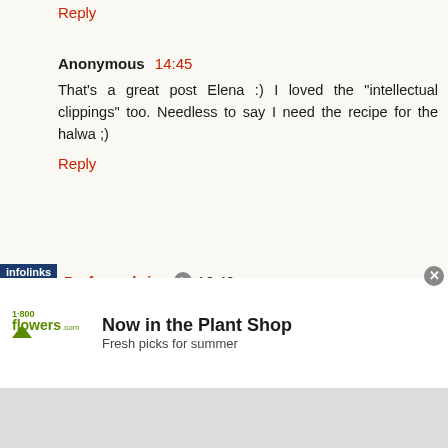Reply
Anonymous 14:45
That's a great post Elena :) I loved the "intellectual clippings" too. Needless to say I need the recipe for the halwa ;)
Reply
Perfumeshrine 16:49
I,

yeah, it's amazing! Poivre is reserved for Caron boutiques, but I'm sure that there's a lot of decanting business going on for Caron extraits, so you can get your hands on it.
[Figure (screenshot): 1-800-Flowers.com advertisement banner: Now in the Plant Shop, Fresh picks for summer, with SEE WHAT'S NEW button and plant imagery]